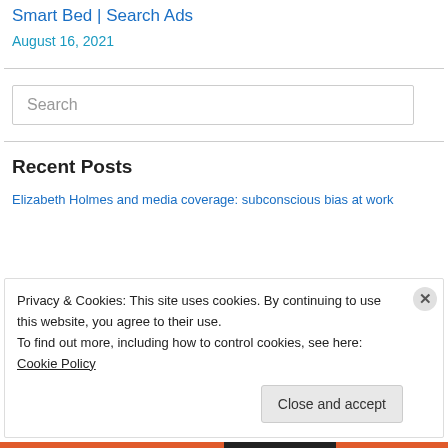Smart Bed | Search Ads
August 16, 2021
Search
Recent Posts
Elizabeth Holmes and media coverage: subconscious bias at work
Privacy & Cookies: This site uses cookies. By continuing to use this website, you agree to their use.
To find out more, including how to control cookies, see here: Cookie Policy
Close and accept